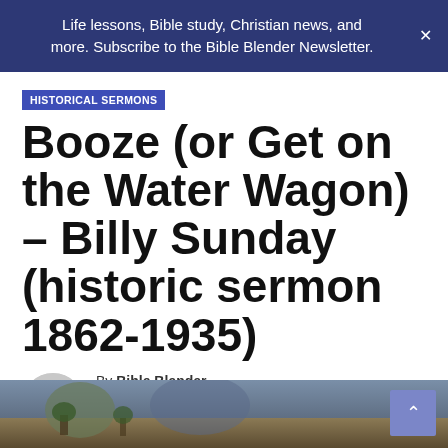Life lessons, Bible study, Christian news, and more. Subscribe to the Bible Blender Newsletter.
HISTORICAL SERMONS
Booze (or Get on the Water Wagon) – Billy Sunday (historic sermon 1862-1935)
By Bible Blender
JUL 2, 2017  Billy Sunday  , sermons
[Figure (photo): Partial view of a historical painting or illustration at the bottom of the page]